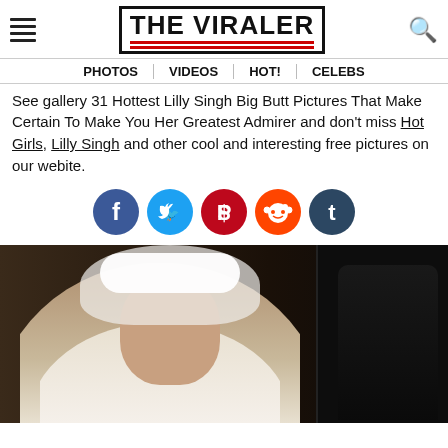THE VIRALER
PHOTOS | VIDEOS | HOT! | CELEBS
See gallery 31 Hottest Lilly Singh Big Butt Pictures That Make Certain To Make You Her Greatest Admirer and don't miss Hot Girls, Lilly Singh and other cool and interesting free pictures on our webite.
[Figure (infographic): Social share buttons: Facebook (blue circle, f), Twitter (light blue circle, bird), Pinterest (dark red circle, P), Reddit (orange circle, alien), Tumblr (dark navy circle, t)]
[Figure (photo): A woman dressed as a bride wearing a white floral headpiece and veil, sitting in or near a car, looking at the camera. Dark background.]